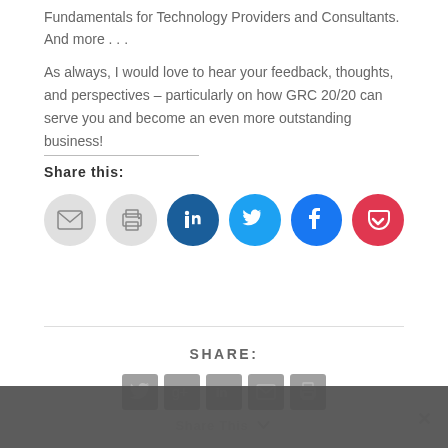Fundamentals for Technology Providers and Consultants.  And more . . .
As always, I would love to hear your feedback, thoughts, and perspectives – particularly on how GRC 20/20 can serve you and become an even more outstanding business!
Share this:
[Figure (illustration): Row of social share icon circles: email (grey), print (grey), LinkedIn (dark blue), Twitter (light blue), Facebook (blue), Pocket (red)]
SHARE:
[Figure (illustration): Bottom dark grey share bar with square icons for Twitter, Google+, LinkedIn, email, print, and a 'Share This' label with chevron, and an X close button]